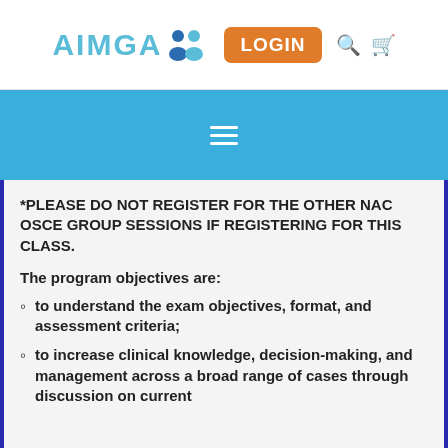AIMGA LOGIN
*PLEASE DO NOT REGISTER FOR THE OTHER NAC OSCE GROUP SESSIONS IF REGISTERING FOR THIS CLASS.
The program objectives are:
to understand the exam objectives, format, and assessment criteria;
to increase clinical knowledge, decision-making, and management across a broad range of cases through discussion on current